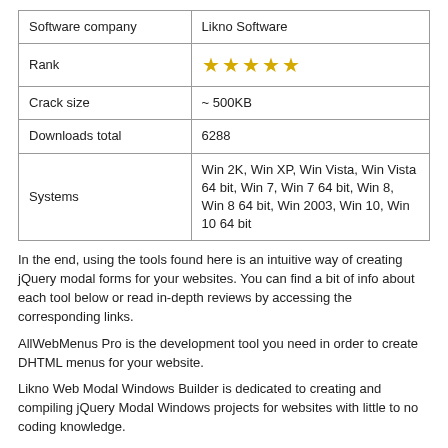| Software company | Likno Software |
| Rank | ★★★★★ |
| Crack size | ~ 500KB |
| Downloads total | 6288 |
| Systems | Win 2K, Win XP, Win Vista, Win Vista 64 bit, Win 7, Win 7 64 bit, Win 8, Win 8 64 bit, Win 2003, Win 10, Win 10 64 bit |
In the end, using the tools found here is an intuitive way of creating jQuery modal forms for your websites. You can find a bit of info about each tool below or read in-depth reviews by accessing the corresponding links.
AllWebMenus Pro is the development tool you need in order to create DHTML menus for your website.
Likno Web Modal Windows Builder is dedicated to creating and compiling jQuery Modal Windows projects for websites with little to no coding knowledge.
It's always good to make things clear and this can be done through intuitive tooltips you can create with Likno Web Tooltips Builder.
Arrange your layout with neat tabs you design in Likno Web Tabs Builder, offering a rich interface to create jQuery HTML tab controls via HTML or CSS.